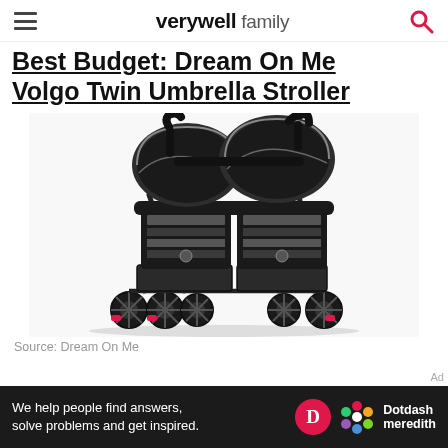verywell family
Best Budget: Dream On Me Volgo Twin Umbrella Stroller
[Figure (photo): Photo of the Dream On Me Volgo Twin Umbrella Stroller — a black side-by-side double stroller with two canopies, gray striped seat liners, a tray bar, basket underneath, and dual sets of wheels with red brake accents.]
Source: Dream On Me
We help people find answers, solve problems and get inspired.
Dotdash meredith